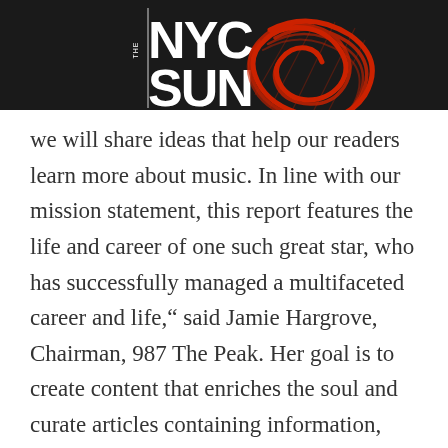[Figure (logo): NYC Sun logo with red swirl/fingerprint graphic on dark background header bar]
we will share ideas that help our readers learn more about music. In line with our mission statement, this report features the life and career of one such great star, who has successfully managed a multifaceted career and life,” said Jamie Hargrove, Chairman, 987 The Peak. Her goal is to create content that enriches the soul and curate articles containing information, current events, and campaigns that change the world and provide knowledge to causes that are relevant to their audiences.
As one of the most comprehensive music websites in the US, 987 The Peak aims to provide articles and resources to sharpen people's creative abilities and help them make